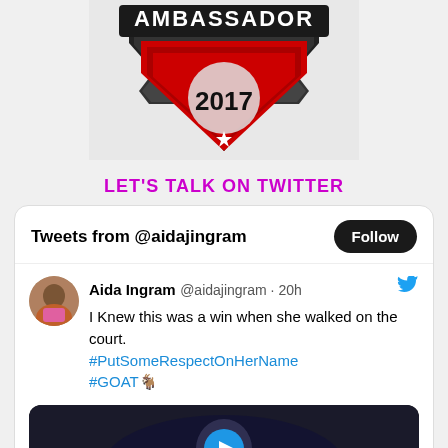[Figure (logo): Ambassador Train Smarter 2017 badge/shield logo with red, black and grey colors]
LET'S TALK ON TWITTER
[Figure (screenshot): Twitter widget showing tweets from @aidajingram with a Follow button, and a tweet by Aida Ingram reading: I Knew this was a win when she walked on the court. #PutSomeRespectOnHerName #GOAT🐐 with a video thumbnail below]
Aida Ingram @aidajingram · 20h
I Knew this was a win when she walked on the court. #PutSomeRespectOnHerName #GOAT🐐